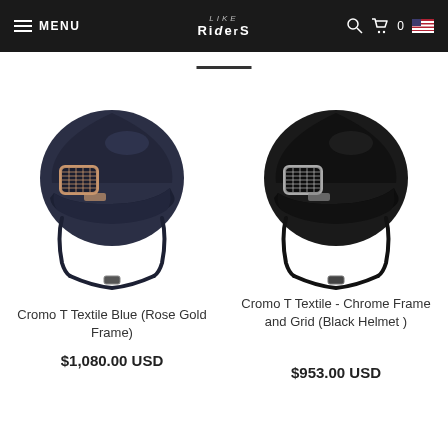MENU | LIKE RIDERS | Search | Cart 0 | US Flag
[Figure (photo): Navy blue equestrian helmet - Cromo T Textile Blue with Rose Gold Frame and grid ventilation panel]
Cromo T Textile Blue (Rose Gold Frame)
$1,080.00 USD
[Figure (photo): Black equestrian helmet - Cromo T Textile with Chrome Frame and Grid ventilation panel]
Cromo T Textile - Chrome Frame and Grid (Black Helmet )
$953.00 USD